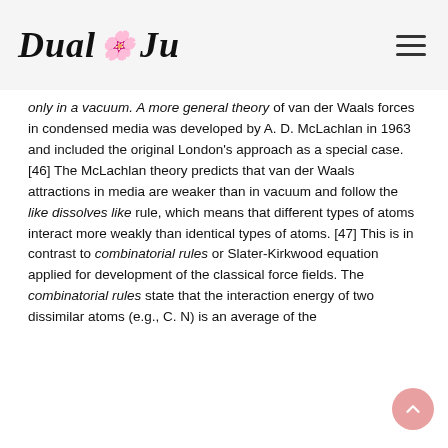Dual Ju
only in a vacuum. A more general theory of van der Waals forces in condensed media was developed by A. D. McLachlan in 1963 and included the original London's approach as a special case. [46] The McLachlan theory predicts that van der Waals attractions in media are weaker than in vacuum and follow the like dissolves like rule, which means that different types of atoms interact more weakly than identical types of atoms. [47] This is in contrast to combinatorial rules or Slater-Kirkwood equation applied for development of the classical force fields. The combinatorial rules state that the interaction energy of two dissimilar atoms (e.g., C. N) is an average of the